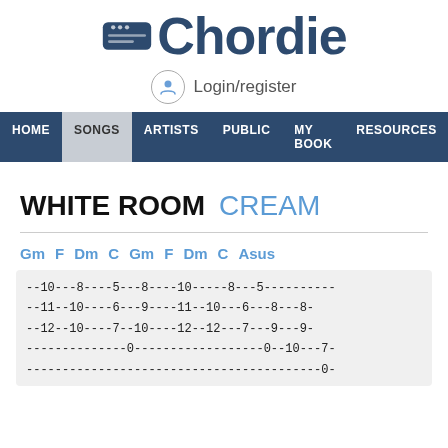Chordie
Login/register
HOME  SONGS  ARTISTS  PUBLIC  MY BOOK  RESOURCES  FORUM
WHITE ROOM  CREAM
Gm  F  Dm  C  Gm  F  Dm  C  Asus
--10---8----5---8----10-----8---5----------
--11--10----6---9----11--10---6---8---8-
--12--10----7--10----12--12---7---9---9-
--------------0------------------0--10---7-
-----------------------------------------0-